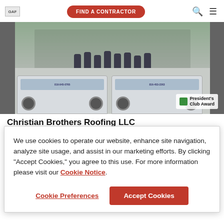GAF — FIND A CONTRACTOR
[Figure (photo): Group photo of Christian Brothers Roofing LLC team standing on and around two branded pickup trucks in front of a commercial building. A President's Club Award badge is shown in the lower right corner of the image.]
Christian Brothers Roofing LLC
We use cookies to operate our website, enhance site navigation, analyze site usage, and assist in our marketing efforts. By clicking "Accept Cookies," you agree to this use. For more information please visit our Cookie Notice.
Cookie Preferences | Accept Cookies